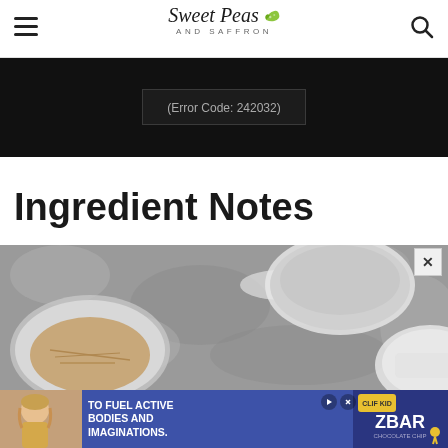Sweet Peas AND SAFFRON
[Figure (screenshot): Black video player area with error code text: (Error Code: 242032)]
Ingredient Notes
[Figure (photo): Overhead photo of baking/cooking ingredients in bowls on a grey stone background, partially visible]
[Figure (photo): Advertisement banner: child eating a CLIF Kid ZBAR chocolate chip bar. Text reads: TO FUEL ACTIVE BODIES AND IMAGINATIONS.]